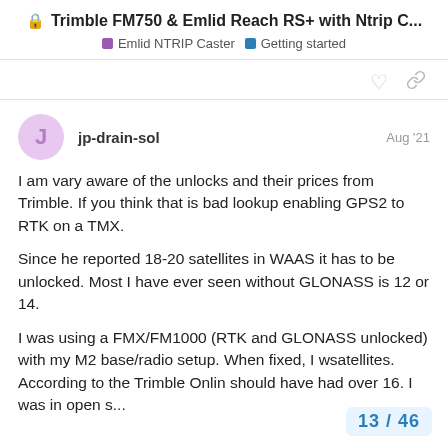🔒 Trimble FM750 & Emlid Reach RS+ with Ntrip C...
Emlid NTRIP Caster   Getting started
jp-drain-sol   Aug '21
I am vary aware of the unlocks and their prices from Trimble. If you think that is bad lookup enabling GPS2 to RTK on a TMX.

Since he reported 18-20 satellites in WAAS it has to be unlocked. Most I have ever seen without GLONASS is 12 or 14.

I was using a FMX/FM1000 (RTK and GLONASS unlocked) with my M2 base/radio setup. When fixed, I w... satellites. According to the Trimble Onlin... should have had over 16. I was in open s...
13 / 46